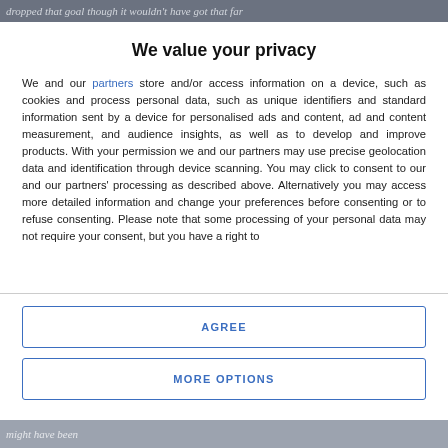dropped that goal though it wouldn't have got that far
We value your privacy
We and our partners store and/or access information on a device, such as cookies and process personal data, such as unique identifiers and standard information sent by a device for personalised ads and content, ad and content measurement, and audience insights, as well as to develop and improve products. With your permission we and our partners may use precise geolocation data and identification through device scanning. You may click to consent to our and our partners' processing as described above. Alternatively you may access more detailed information and change your preferences before consenting or to refuse consenting. Please note that some processing of your personal data may not require your consent, but you have a right to
AGREE
MORE OPTIONS
might have been